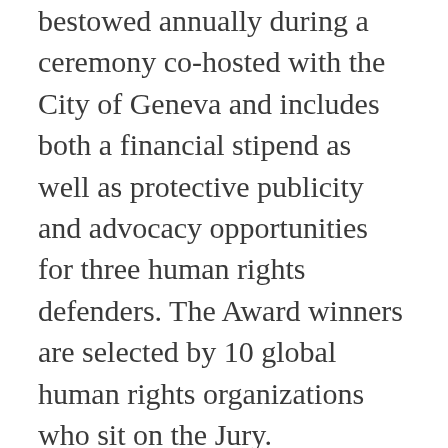bestowed annually during a ceremony co-hosted with the City of Geneva and includes both a financial stipend as well as protective publicity and advocacy opportunities for three human rights defenders. The Award winners are selected by 10 global human rights organizations who sit on the Jury.
The Martin Ennals Foundation, based in Geneva, is looking for a dynamic intern to support our